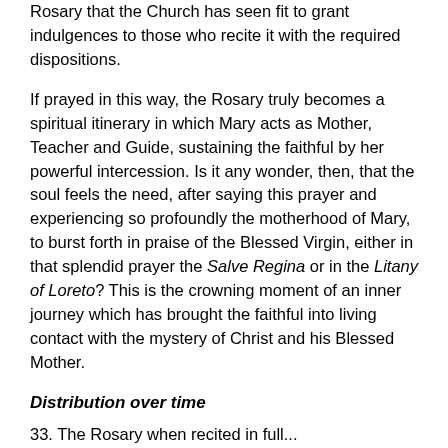Rosary that the Church has seen fit to grant indulgences to those who recite it with the required dispositions.
If prayed in this way, the Rosary truly becomes a spiritual itinerary in which Mary acts as Mother, Teacher and Guide, sustaining the faithful by her powerful intercession. Is it any wonder, then, that the soul feels the need, after saying this prayer and experiencing so profoundly the motherhood of Mary, to burst forth in praise of the Blessed Virgin, either in that splendid prayer the Salve Regina or in the Litany of Loreto? This is the crowning moment of an inner journey which has brought the faithful into living contact with the mystery of Christ and his Blessed Mother.
Distribution over time
33. The Rosary when recited in full...